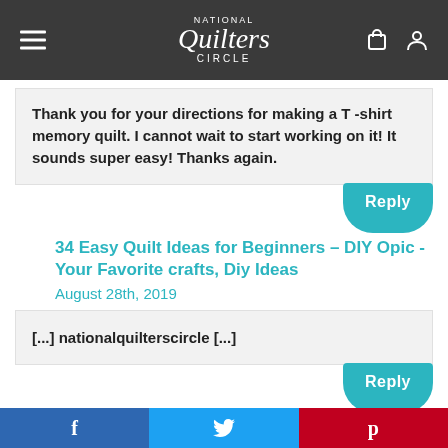National Quilters Circle
Thank you for your directions for making a T -shirt memory quilt. I cannot wait to start working on it! It sounds super easy! Thanks again.
Reply
34 Easy Quilt Ideas for Beginners – DIY Opic -Your Favorite crafts, Diy Ideas
August 28th, 2019
[...] nationalquilterscircle [...]
Reply
Nancy Maughmer
October 27th, 2019
f   Twitter bird   p